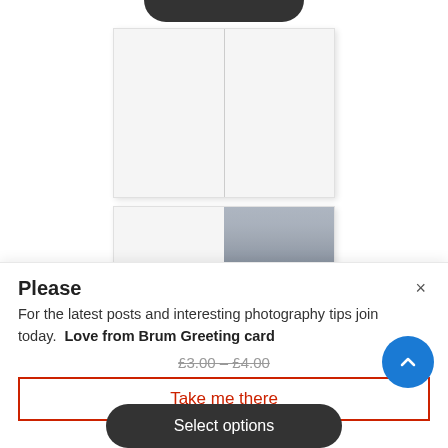[Figure (photo): E-commerce screenshot showing two product images of a greeting card: one open blank card and one showing the front with a metallic spheres photography image. Below is a popup modal with title 'Please', newsletter opt-in text, product title 'Love from Brum Greeting card', price range £3.00–£4.00, a 'Take me there' red button, a 'Select options' dark button, and a blue scroll-to-top circle button.]
Please
For the latest posts and interesting photography tips join today.
Love from Brum Greeting card
£3.00 – £4.00
Take me there
Select options